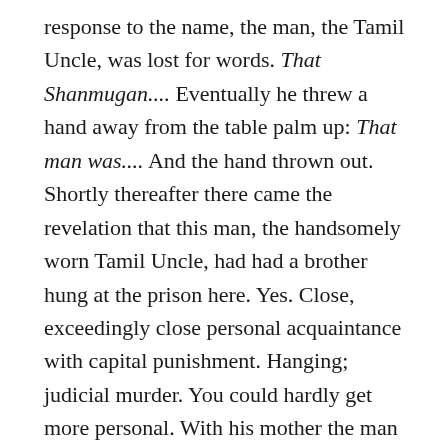response to the name, the man, the Tamil Uncle, was lost for words. That Shanmugan.... Eventually he threw a hand away from the table palm up: That man was.... And the hand thrown out. Shortly thereafter there came the revelation that this man, the handsomely worn Tamil Uncle, had had a brother hung at the prison here. Yes. Close, exceedingly close personal acquaintance with capital punishment. Hanging; judicial murder. You could hardly get more personal. With his mother the man had gone to visit the con-demned, his brother. Sitting opposite him, he went on, the old worn, formerly handsome Tamil Uncle who looked a lot like Beckett, only more